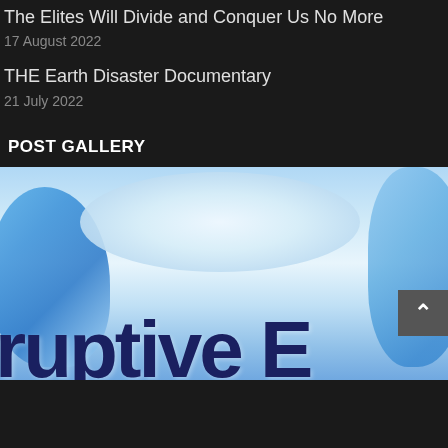The Elites Will Divide and Conquer Us No More
17 August 2022
THE Earth Disaster Documentary
21 July 2022
POST GALLERY
[Figure (photo): Dramatic icy/ocean wave scene with large dark blue text partially visible reading 'ruptive E...' against a light sky background with blue waves]